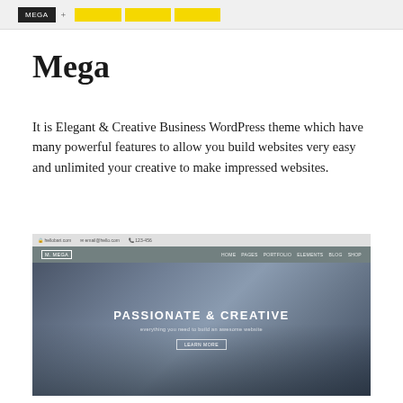[Figure (screenshot): Top navigation bar screenshot showing 'MEGA' tab in dark background with yellow tab items]
Mega
It is Elegant & Creative Business WordPress theme which have many powerful features to allow you build websites very easy and unlimited your creative to make impressed websites.
[Figure (screenshot): Screenshot of Mega WordPress theme homepage showing city skyline background with navigation bar, 'PASSIONATE & CREATIVE' hero text, subtitle 'everything you need to build an awesome website', and LEARN MORE button]